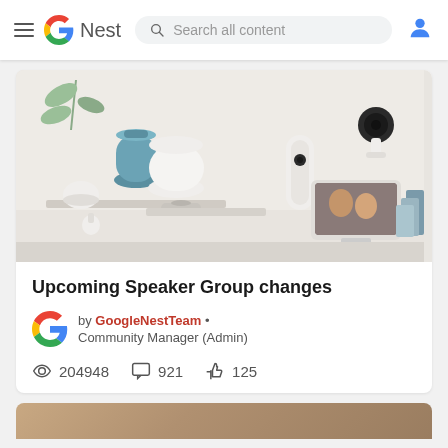Google Nest — Search all content
[Figure (photo): Google Nest product lineup including Nest Audio speaker, Nest Mini, Nest WiFi router, Nest Doorbell, Nest Cam, Nest Hub, and remote — displayed on white/beige shelves with teal vase and plant in background]
Upcoming Speaker Group changes
by GoogleNestTeam • Community Manager (Admin)
204948 views  921 comments  125 likes